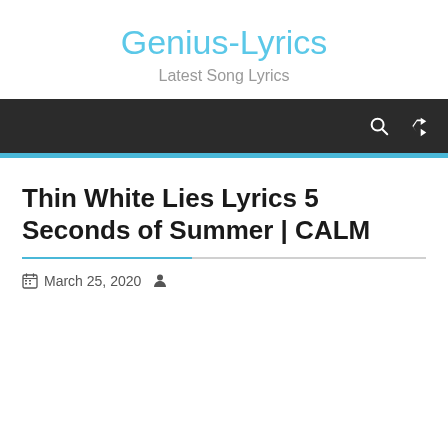Genius-Lyrics
Latest Song Lyrics
Thin White Lies Lyrics 5 Seconds of Summer | CALM
March 25, 2020